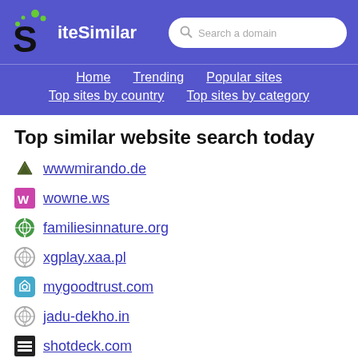[Figure (logo): SiteSimilar logo with stylized S and green dots]
Search a domain
Home
Trending
Popular sites
Top sites by country
Top sites by category
Top similar website search today
wwwmirando.de
wowne.ws
familiesinnature.org
xgplay.xaa.pl
mygoodtrust.com
jadu-dekho.in
shotdeck.com
best-bet.asia